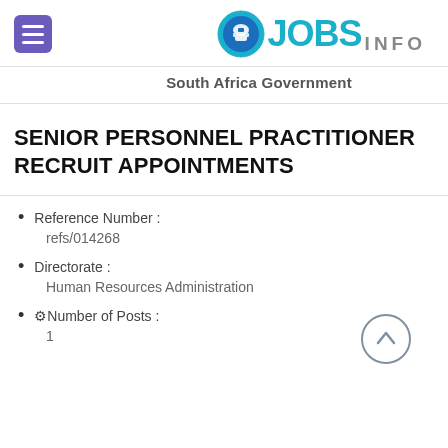JOBS INFO
South Africa Government
SENIOR PERSONNEL PRACTITIONER RECRUITMENT APPOINTMENTS
Reference Number : refs/014268
Directorate : Human Resources Administration
Number of Posts : 1